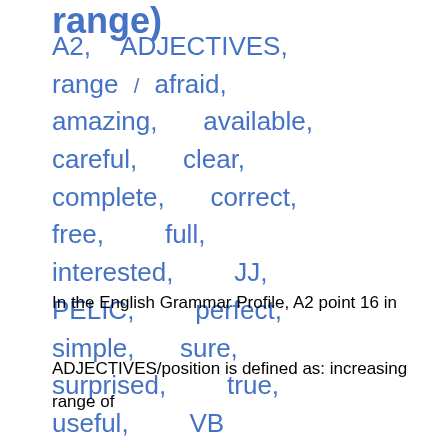range)
A2, ADJECTIVES, range / afraid, amazing, available, careful, clear, complete, correct, free, full, interested, JJ, PELIC, perfect, simple, sure, surprised, true, useful, VB
In the English Grammar Profile, A2 point 16 in ADJECTIVES/position is defined as: increasing range of adjectives predicatively, after 'be'. *This grammar point is better expanded in the English Vocabulary Profile because it offers more detail about vocabulary. A search on iWeb for, VB , JJ. *note that not all of the following are